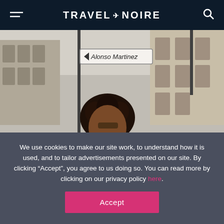TRAVEL + NOIRE
[Figure (photo): Street scene with an 'Alonso Martinez' sign and a person with curly hair in the foreground, blurred buildings in background]
We use cookies to make our site work, to understand how it is used, and to tailor advertisements presented on our site. By clicking “Accept”, you agree to us doing so. You can read more by clicking on our privacy policy here.
Accept